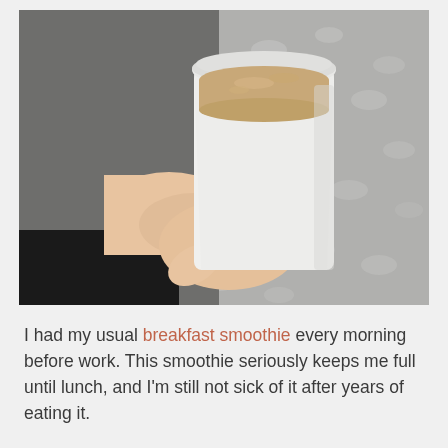[Figure (photo): A hand holding a white plastic cup containing a beige/tan smoothie, resting on a fluffy grey textured blanket or fabric. The person is wearing a dark sleeve.]
I had my usual breakfast smoothie every morning before work. This smoothie seriously keeps me full until lunch, and I'm still not sick of it after years of eating it.